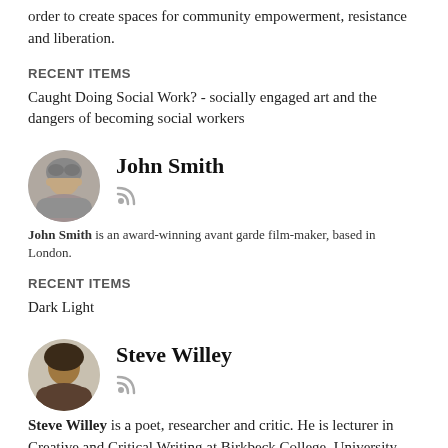order to create spaces for community empowerment, resistance and liberation.
RECENT ITEMS
Caught Doing Social Work? - socially engaged art and the dangers of becoming social workers
[Figure (photo): Circular portrait photo of John Smith, an older man with grey hair]
John Smith
John Smith is an award-winning avant garde film-maker, based in London.
RECENT ITEMS
Dark Light
[Figure (photo): Circular portrait photo of Steve Willey]
Steve Willey
Steve Willey is a poet, researcher and critic. He is lecturer in Creative and Critical Writing at Birkbeck College, University